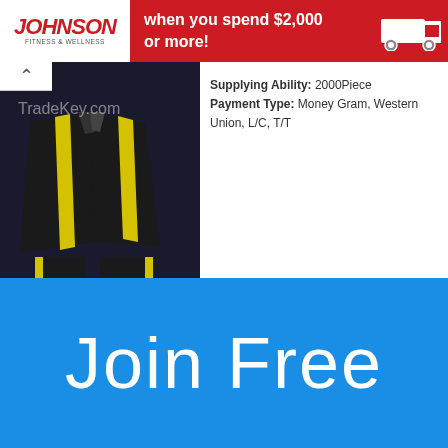[Figure (screenshot): Johnson Fitness & Wellness banner with red background, white logo area, text 'when you spend $2,000 or more!' and truck icon]
[Figure (photo): Dark tracksuit with yellow stripe accents on dark background, TradeKey.com watermark]
Supplying Ability: 2000Piece
Payment Type: Money Gram, Western Union, L/C, T/T
[Figure (photo): Black and red tracksuit with white accents]
Track Suit | Sports Wear
Sports Uniforms: Karate Suits, Judo Suits, made of best quality cotton & polyester in most ...
Supplying Ability: 500Pack
Payment Type: Western Union, D/P, L/C, T/T
Join Free